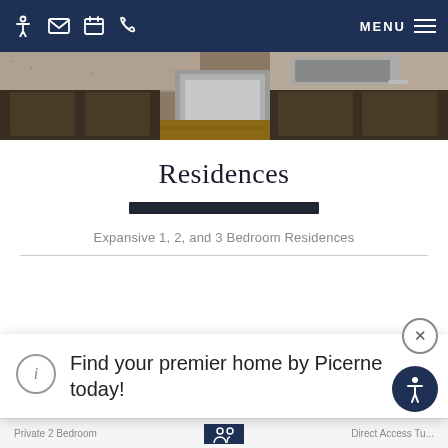MENU navigation bar with accessibility, mail, calendar, phone icons
[Figure (photo): Kitchen interior showing granite countertops, dark wood cabinets, stainless steel appliances and sink]
Residences
Expansive 1, 2, and 3 Bedroom Residences
Find your premier home by Picerne today!
Private 2 Bedroom ... Direct Access Tu...